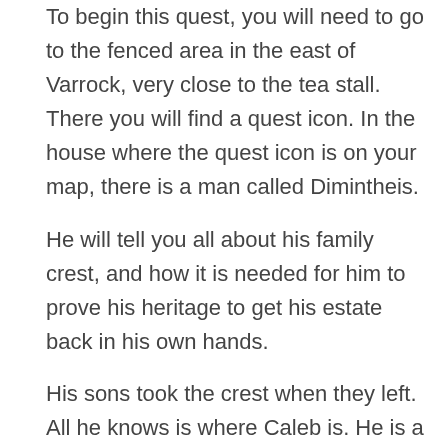To begin this quest, you will need to go to the fenced area in the east of Varrock, very close to the tea stall. There you will find a quest icon. In the house where the quest icon is on your map, there is a man called Dimintheis.
He will tell you all about his family crest, and how it is needed for him to prove his heritage to get his estate back in his own hands.
His sons took the crest when they left. All he knows is where Caleb is. He is a chef in Catherby.
Going To Caleb